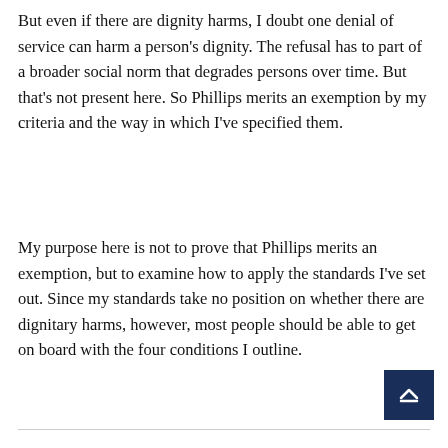But even if there are dignity harms, I doubt one denial of service can harm a person's dignity. The refusal has to part of a broader social norm that degrades persons over time. But that's not present here. So Phillips merits an exemption by my criteria and the way in which I've specified them.
My purpose here is not to prove that Phillips merits an exemption, but to examine how to apply the standards I've set out. Since my standards take no position on whether there are dignitary harms, however, most people should be able to get on board with the four conditions I outline.